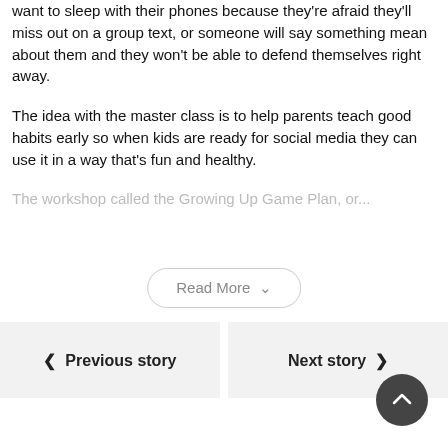want to sleep with their phones because they're afraid they'll miss out on a group text, or someone will say something mean about them and they won't be able to defend themselves right away.
The idea with the master class is to help parents teach good habits early so when kids are ready for social media they can use it in a way that's fun and healthy.
The workshop called the Growing Up Game Plan, or...
Read More
Previous story
Next story